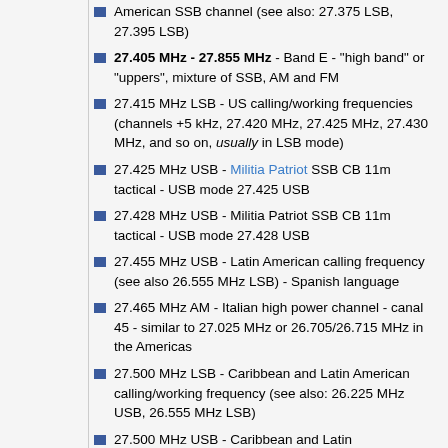American SSB channel (see also: 27.375 LSB, 27.395 LSB)
27.405 MHz - 27.855 MHz - Band E - "high band" or "uppers", mixture of SSB, AM and FM
27.415 MHz LSB - US calling/working frequencies (channels +5 kHz, 27.420 MHz, 27.425 MHz, 27.430 MHz, and so on, usually in LSB mode)
27.425 MHz USB - Militia Patriot SSB CB 11m tactical - USB mode 27.425 USB
27.428 MHz USB - Militia Patriot SSB CB 11m tactical - USB mode 27.428 USB
27.455 MHz USB - Latin American calling frequency (see also 26.555 MHz LSB) - Spanish language
27.465 MHz AM - Italian high power channel - canal 45 - similar to 27.025 MHz or 26.705/26.715 MHz in the Americas
27.500 MHz LSB - Caribbean and Latin American calling/working frequency (see also: 26.225 MHz USB, 26.555 MHz LSB)
27.500 MHz USB - Caribbean and Latin